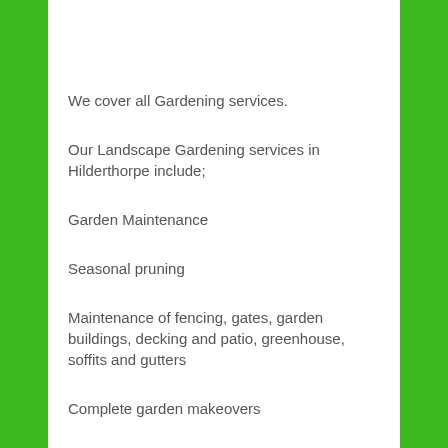We cover all Gardening services.
Our Landscape Gardening services in Hilderthorpe include;
Garden Maintenance
Seasonal pruning
Maintenance of fencing, gates, garden buildings, decking and patio, greenhouse, soffits and gutters
Complete garden makeovers